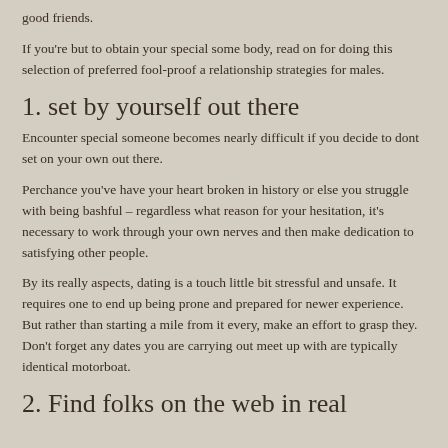good friends.
If you're but to obtain your special some body, read on for doing this selection of preferred fool-proof a relationship strategies for males.
1. set by yourself out there
Encounter special someone becomes nearly difficult if you decide to dont set on your own out there.
Perchance you've have your heart broken in history or else you struggle with being bashful – regardless what reason for your hesitation, it's necessary to work through your own nerves and then make dedication to satisfying other people.
By its really aspects, dating is a touch little bit stressful and unsafe. It requires one to end up being prone and prepared for newer experience. But rather than starting a mile from it every, make an effort to grasp they. Don't forget any dates you are carrying out meet up with are typically identical motorboat.
2. Find folks on the web in real